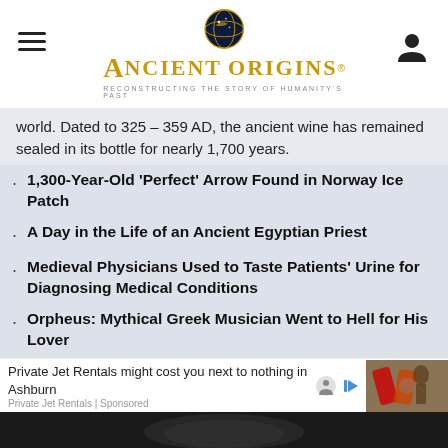Ancient Origins — Reconstructing the Story of Humanity's Past
world. Dated to 325 – 359 AD, the ancient wine has remained sealed in its bottle for nearly 1,700 years.
1,300-Year-Old 'Perfect' Arrow Found in Norway Ice Patch
A Day in the Life of an Ancient Egyptian Priest
Medieval Physicians Used to Taste Patients' Urine for Diagnosing Medical Conditions
Orpheus: Mythical Greek Musician Went to Hell for His Lover
Curious Cures: Cambridge to Publish Astonishing Medieval Medical Manuscripts
Private Jet Rentals might cost you next to nothing in Ashburn
Private Jet Rentals | Sponsored